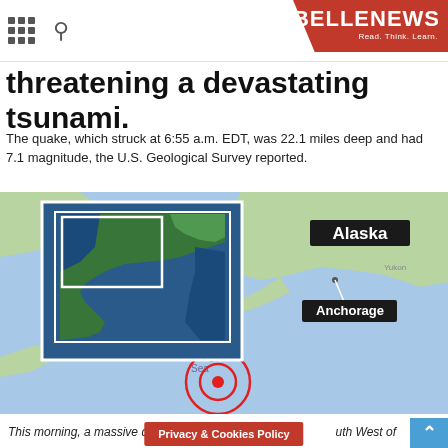BELLE NEWS — Read. Think. Learn.
threatening a devastating tsunami.
The quake, which struck at 6:55 a.m. EDT, was 22.1 miles deep and had 7.1 magnitude, the U.S. Geological Survey reported.
[Figure (map): Map showing Alaska region with earthquake epicenter marked with concentric red circles southwest of Alaska, and Anchorage labeled with a callout. An inset satellite image shows North America overview.]
This morning, a massive quake st[ruck] ... uth West of